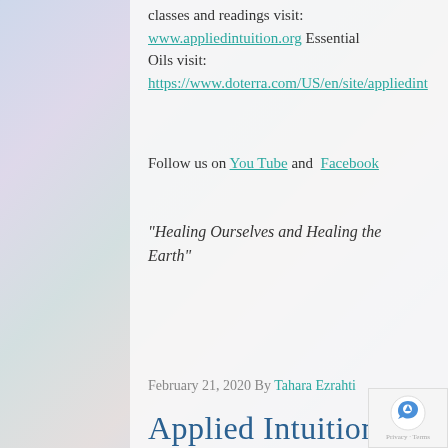classes and readings visit: www.appliedintuition.org Essential Oils visit: https://www.doterra.com/US/en/site/appliedint
Follow us on You Tube and Facebook
“Healing Ourselves and Healing the Earth”
February 21, 2020 By Tahara Ezrahti
Applied Intuition: